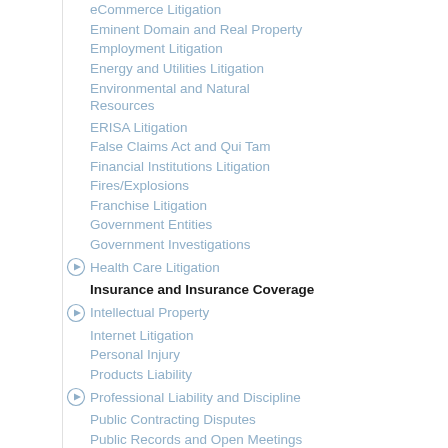eCommerce Litigation
Eminent Domain and Real Property
Employment Litigation
Energy and Utilities Litigation
Environmental and Natural Resources
ERISA Litigation
False Claims Act and Qui Tam
Financial Institutions Litigation
Fires/Explosions
Franchise Litigation
Government Entities
Government Investigations
Health Care Litigation
Insurance and Insurance Coverage
Intellectual Property
Internet Litigation
Personal Injury
Products Liability
Professional Liability and Discipline
Public Contracting Disputes
Public Records and Open Meetings